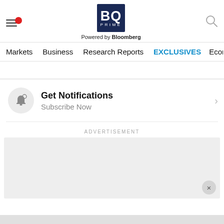[Figure (logo): BQ Prime logo - dark navy blue square with BQ in white bold text and PRIME in small letters below, with Powered by Bloomberg text underneath]
Markets  Business  Research Reports  EXCLUSIVES  Economy
Get Notifications
Subscribe Now
ADVERTISEMENT